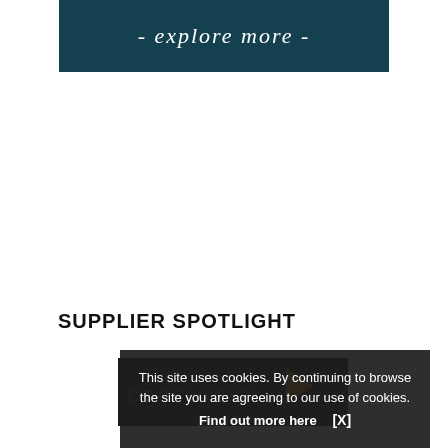[Figure (illustration): Dark teal banner with italic white text reading '- explore more -']
SUPPLIER SPOTLIGHT
[Figure (logo): Supplier logo area with dark background showing partial 'CONFLUENT' text and an orange arrow/play icon]
This site uses cookies. By continuing to browse the site you are agreeing to our use of cookies. Find out more here [X]